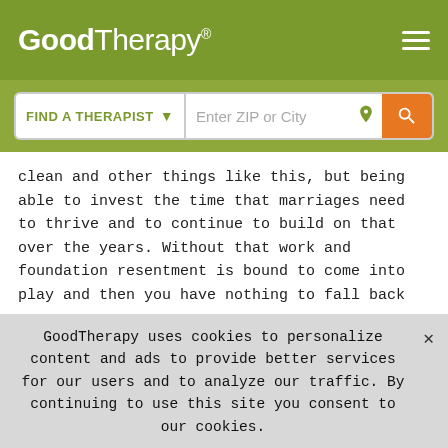GoodTherapy®
[Figure (screenshot): GoodTherapy website search bar with 'FIND A THERAPIST' dropdown and 'Enter ZIP or City' input field with orange search button]
clean and other things like this, but being able to invest the time that marriages need to thrive and to continue to build on that over the years. Without that work and foundation resentment is bound to come into play and then you have nothing to fall back on.
Reply
Gloria
August 21st, 2009 at 3:58 AM
GoodTherapy uses cookies to personalize content and ads to provide better services for our users and to analyze our traffic. By continuing to use this site you consent to our cookies.